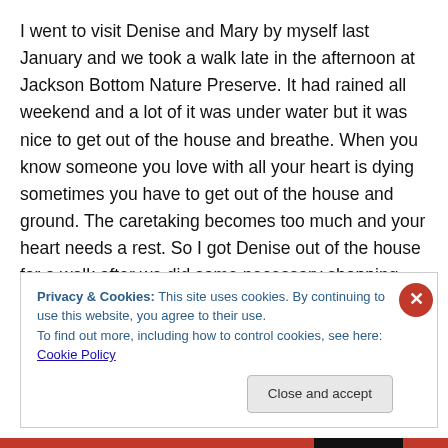I went to visit Denise and Mary by myself last January and we took a walk late in the afternoon at Jackson Bottom Nature Preserve. It had rained all weekend and a lot of it was under water but it was nice to get out of the house and breathe. When you know someone you love with all your heart is dying sometimes you have to get out of the house and ground. The caretaking becomes too much and your heart needs a rest. So I got Denise out of the house for a walk after we did some necessary shopping. The geese were coming in on the flyway for the night and there
Privacy & Cookies: This site uses cookies. By continuing to use this website, you agree to their use.
To find out more, including how to control cookies, see here: Cookie Policy
Close and accept